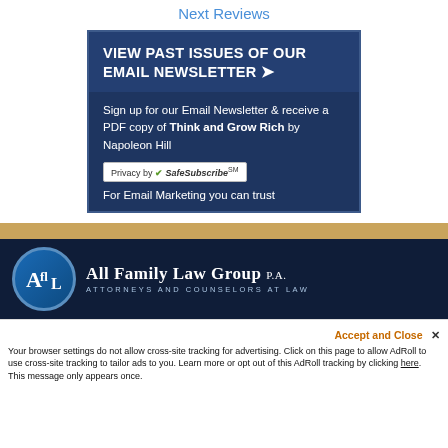Next Reviews
VIEW PAST ISSUES OF OUR EMAIL NEWSLETTER →
Sign up for our Email Newsletter & receive a PDF copy of Think and Grow Rich by Napoleon Hill
[Figure (logo): Privacy by SafeSubscribe℠ badge]
For Email Marketing you can trust
[Figure (logo): All Family Law Group P.A. — Attorneys and Counselors at Law logo with circular AFL emblem on dark navy background]
Accept and Close ✕ Your browser settings do not allow cross-site tracking for advertising. Click on this page to allow AdRoll to use cross-site tracking to tailor ads to you. Learn more or opt out of this AdRoll tracking by clicking here. This message only appears once.